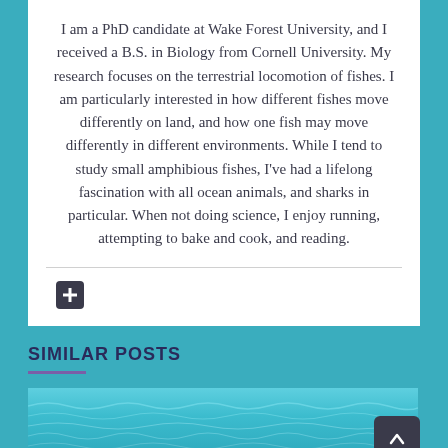I am a PhD candidate at Wake Forest University, and I received a B.S. in Biology from Cornell University. My research focuses on the terrestrial locomotion of fishes. I am particularly interested in how different fishes move differently on land, and how one fish may move differently in different environments. While I tend to study small amphibious fishes, I've had a lifelong fascination with all ocean animals, and sharks in particular. When not doing science, I enjoy running, attempting to bake and cook, and reading.
[Figure (other): A dark rounded square icon containing a white plus/cross symbol, resembling a first-aid or add button]
SIMILAR POSTS
[Figure (photo): A photo of ocean water surface with rippling blue-green waves]